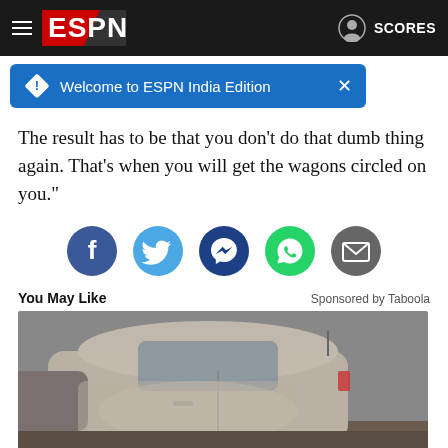ESPN — Welcome to ESPN India Edition
The result has to be that you don't do that dumb thing again. That's when you will get the wagons circled on you."
[Figure (infographic): Social share buttons row: Facebook, Twitter, Messenger, WhatsApp, Email]
You May Like    Sponsored by Taboola
[Figure (photo): A dust-covered silver sedan car, photographed from driver's side rear angle, with another vehicle partially visible behind it.]